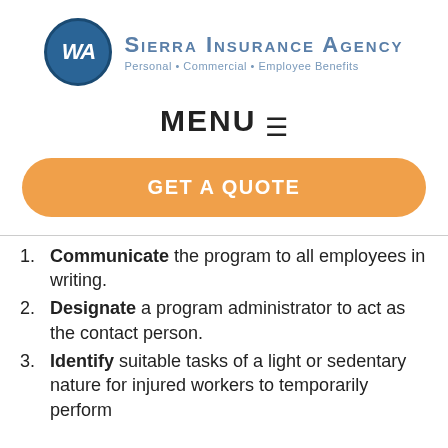[Figure (logo): Sierra Insurance Agency logo with blue circle containing 'WA' initials and agency name text]
MENU ☰
GET A QUOTE
Communicate the program to all employees in writing.
Designate a program administrator to act as the contact person.
Identify suitable tasks of a light or sedentary nature for injured workers to temporarily perform